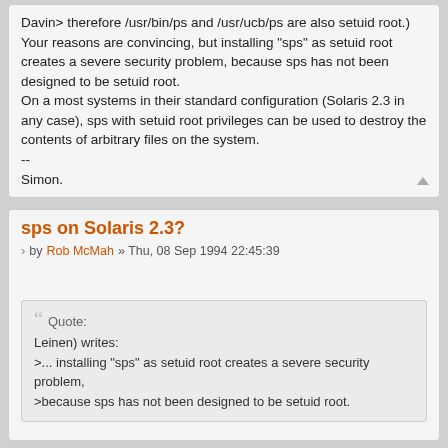Davin> therefore /usr/bin/ps and /usr/ucb/ps are also setuid root.)
Your reasons are convincing, but installing "sps" as setuid root creates a severe security problem, because sps has not been designed to be setuid root.
On a most systems in their standard configuration (Solaris 2.3 in any case), sps with setuid root privileges can be used to destroy the contents of arbitrary files on the system.
--
Simon.
sps on Solaris 2.3?
by Rob McMah » Thu, 08 Sep 1994 22:45:39
Quote:
Leinen) writes:
>... installing "sps" as setuid root creates a severe security problem,
>because sps has not been designed to be setuid root.
OK.  The problems I know of have been fixed.  Grab a new copy from ftp.csv.warwick.ac.uk:/pub/solaris2/sps-sol2.tar.gz, or apply the following patch (you'll get varying line numbers for main.c).